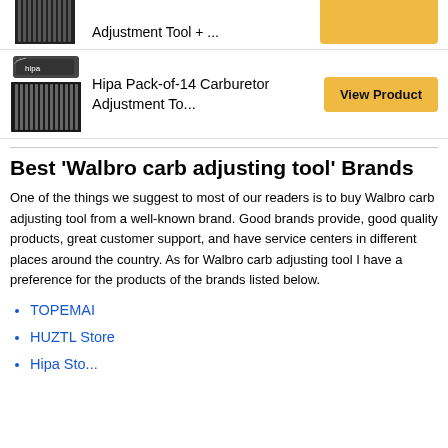[Figure (photo): Carburetor adjustment tool product image (partial, top row, cut off)]
Adjustment Tool + ...
[Figure (photo): Hipa Pack-of-14 Carburetor Adjustment Tool product image with case and tools]
Hipa Pack-of-14 Carburetor Adjustment To...
View Product
Best 'Walbro carb adjusting tool' Brands
One of the things we suggest to most of our readers is to buy Walbro carb adjusting tool from a well-known brand. Good brands provide, good quality products, great customer support, and have service centers in different places around the country. As for Walbro carb adjusting tool I have a preference for the products of the brands listed below.
TOPEMAI
HUZTL Store
Hipa Sto...